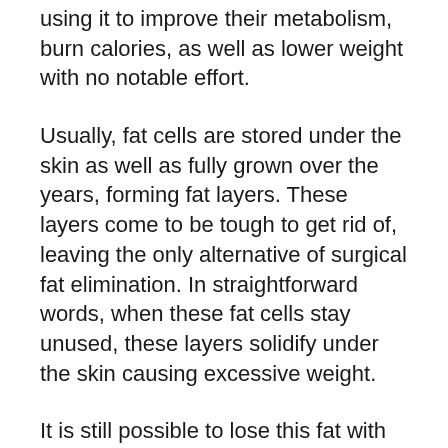using it to improve their metabolism, burn calories, as well as lower weight with no notable effort.
Usually, fat cells are stored under the skin as well as fully grown over the years, forming fat layers. These layers come to be tough to get rid of, leaving the only alternative of surgical fat elimination. In straightforward words, when these fat cells stay unused, these layers solidify under the skin causing excessive weight.
It is still possible to lose this fat with dietary and also way of life changes, however that is a long procedure. Some people can dissolve these fats deposit quicker than the rest. Not everyone can do it. Additionally, the fat